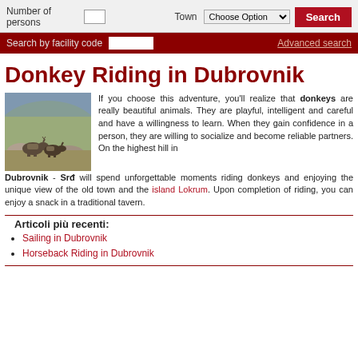Number of persons [input] Town Choose Option [dropdown] Search
Search by facility code [input] Advanced search
Donkey Riding in Dubrovnik
[Figure (photo): Photo of donkeys on a rocky hillside with sparse vegetation]
If you choose this adventure, you'll realize that donkeys are really beautiful animals. They are playful, intelligent and careful and have a willingness to learn. When they gain confidence in a person, they are willing to socialize and become reliable partners. On the highest hill in Dubrovnik - Srđ will spend unforgettable moments riding donkeys and enjoying the unique view of the old town and the island Lokrum. Upon completion of riding, you can enjoy a snack in a traditional tavern.
Articoli più recenti:
Sailing in Dubrovnik
Horseback Riding in Dubrovnik